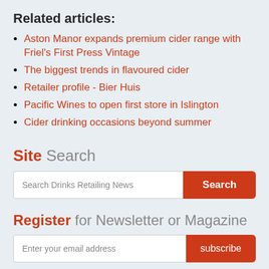Related articles:
Aston Manor expands premium cider range with Friel's First Press Vintage
The biggest trends in flavoured cider
Retailer profile - Bier Huis
Pacific Wines to open first store in Islington
Cider drinking occasions beyond summer
Site Search
Search Drinks Retailing News
Register for Newsletter or Magazine
Enter your email address
[Figure (photo): Partial images visible at bottom of page]